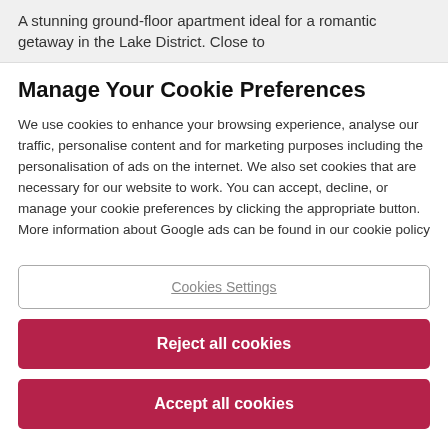A stunning ground-floor apartment ideal for a romantic getaway in the Lake District. Close to
Manage Your Cookie Preferences
We use cookies to enhance your browsing experience, analyse our traffic, personalise content and for marketing purposes including the personalisation of ads on the internet. We also set cookies that are necessary for our website to work. You can accept, decline, or manage your cookie preferences by clicking the appropriate button. More information about Google ads can be found in our cookie policy
Cookies Settings
Reject all cookies
Accept all cookies